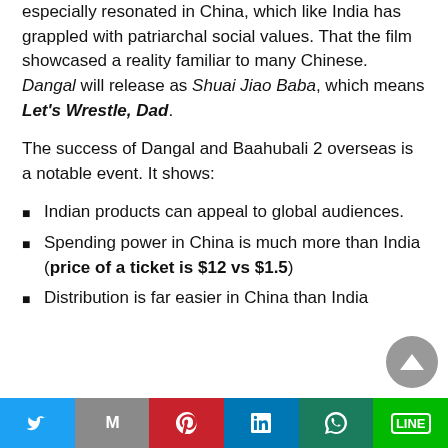especially resonated in China, which like India has grappled with patriarchal social values. That the film showcased a reality familiar to many Chinese. Dangal will release as Shuai Jiao Baba, which means Let's Wrestle, Dad.
The success of Dangal and Baahubali 2 overseas is a notable event. It shows:
Indian products can appeal to global audiences.
Spending power in China is much more than India (price of a ticket is $12 vs $1.5)
Distribution is far easier in China than India (India requires ~8% of screens in China, the...)
Twitter | Gmail | Pinterest | LinkedIn | WhatsApp | LINE